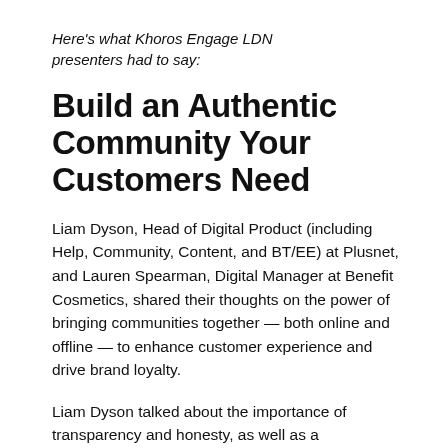Here's what Khoros Engage LDN presenters had to say:
Build an Authentic Community Your Customers Need
Liam Dyson, Head of Digital Product (including Help, Community, Content, and BT/EE) at Plusnet, and Lauren Spearman, Digital Manager at Benefit Cosmetics, shared their thoughts on the power of bringing communities together — both online and offline — to enhance customer experience and drive brand loyalty.
Liam Dyson talked about the importance of transparency and honesty, as well as a